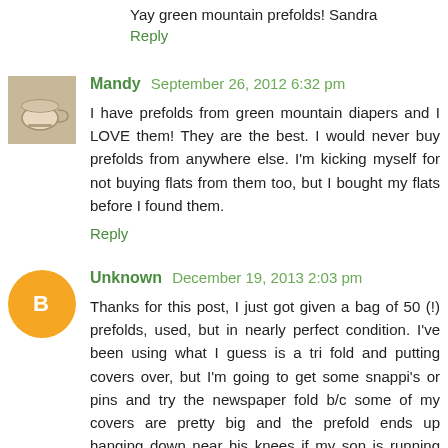Yay green mountain prefolds! Sandra
Reply
Mandy September 26, 2012 6:32 pm
I have prefolds from green mountain diapers and I LOVE them! They are the best. I would never buy prefolds from anywhere else. I'm kicking myself for not buying flats from them too, but I bought my flats before I found them.
Reply
Unknown December 19, 2013 2:03 pm
Thanks for this post, I just got given a bag of 50 (!) prefolds, used, but in nearly perfect condition. I've been using what I guess is a tri fold and putting covers over, but I'm going to get some snappi's or pins and try the newspaper fold b/c some of my covers are pretty big and the prefold ends up hanging down near his knees if my son is running around a lot. Which is constantly is!